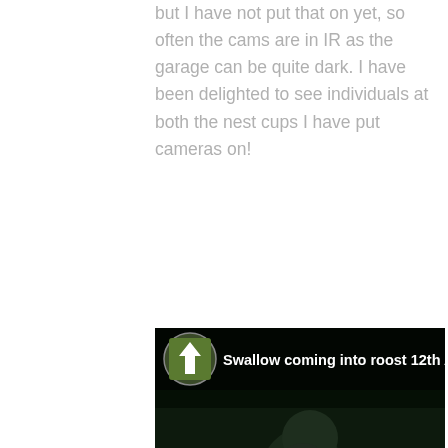...There is some LED for lighting put in, but I have not put that on yet, so often the cams are in IR as the garage can be quite dark. I have been delighted to see individuals at both the nest cups I have put cameras on!
[Figure (screenshot): Night-vision IR camera screenshot showing a swallow bird perched on a nest cup inside a dark garage. A video overlay shows the title 'Swallow coming into roost 12th A' with an upward arrow icon and user avatar thumbnail. A play button is visible in the lower right corner of the video thumbnail.]